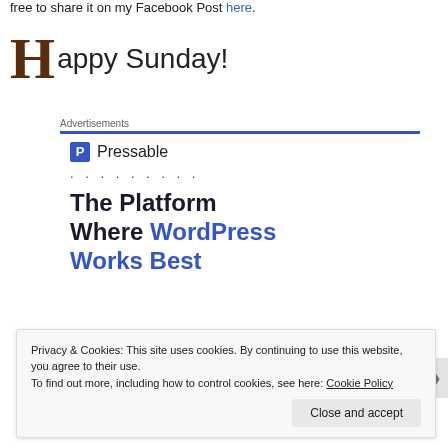free to share it on my Facebook Post here.
Happy Sunday!
Advertisements
[Figure (logo): Pressable logo with icon and dotted loading indicator]
The Platform Where WordPress Works Best
Privacy & Cookies: This site uses cookies. By continuing to use this website, you agree to their use. To find out more, including how to control cookies, see here: Cookie Policy
Close and accept